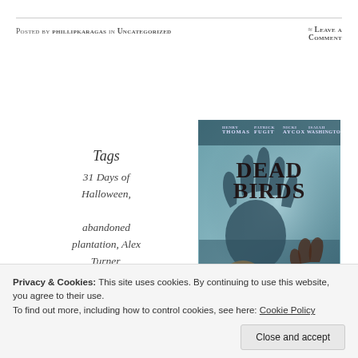Posted by phillipkaragas in Uncategorized   ≈ Leave a comment
Tags
31 Days of Halloween,
abandoned plantation, Alex Turner,
American Civil War, cinema,
[Figure (photo): Movie poster for Dead Birds featuring the title 'DEADBIRDS' with actor names Henry Thomas, Patrick Fugit, Nicki Aycox, Isaiah Washington at the top. The poster shows shadowy hands and a skull against a blue-grey background.]
Privacy & Cookies: This site uses cookies. By continuing to use this website, you agree to their use. To find out more, including how to control cookies, see here: Cookie Policy
Close and accept